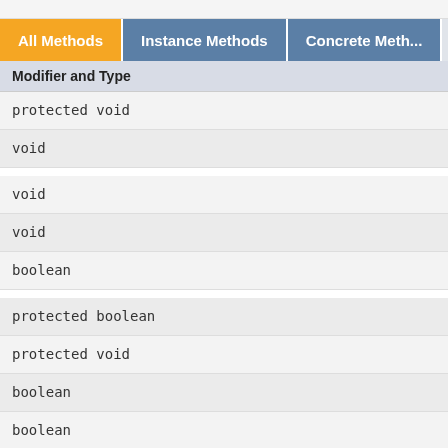| All Methods | Instance Methods | Concrete Meth... |
| --- | --- | --- |
| Modifier and Type |  |
| protected void |  |
| void |  |
| void |  |
| void |  |
| boolean |  |
| protected boolean |  |
| protected void |  |
| boolean |  |
| boolean |  |
| Directory |  |
| Cla... |  |